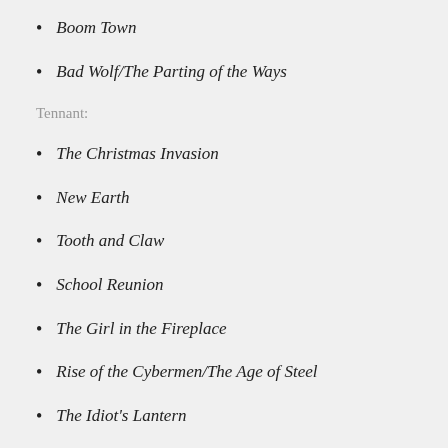Boom Town
Bad Wolf/The Parting of the Ways
Tennant:
The Christmas Invasion
New Earth
Tooth and Claw
School Reunion
The Girl in the Fireplace
Rise of the Cybermen/The Age of Steel
The Idiot's Lantern
The Impossible Planet/The Satan Pit